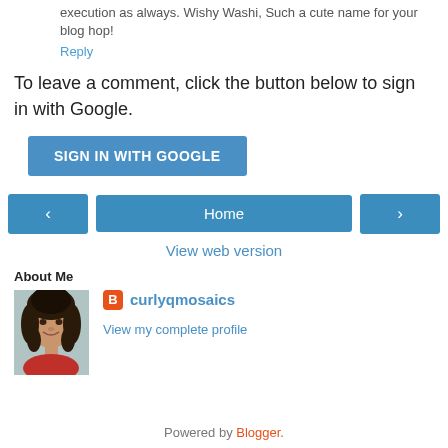execution as always. Wishy Washi, Such a cute name for your blog hop!
Reply
To leave a comment, click the button below to sign in with Google.
[Figure (other): SIGN IN WITH GOOGLE button, blue rounded rectangle]
[Figure (other): Navigation bar with left arrow button, Home button, and right arrow button]
View web version
About Me
[Figure (photo): Profile photo of curlyqmosaics, a woman with curly dark hair, smiling, wearing red]
curlyqmosaics
View my complete profile
Powered by Blogger.